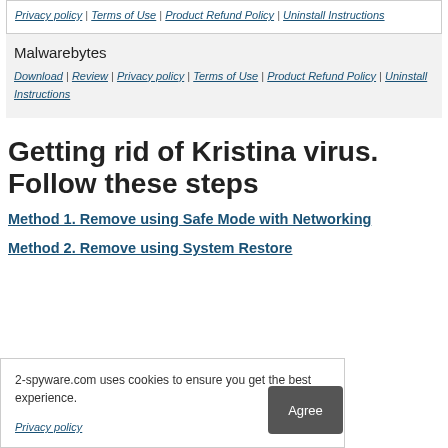Privacy policy | Terms of Use | Product Refund Policy | Uninstall Instructions
Malwarebytes
Download | Review | Privacy policy | Terms of Use | Product Refund Policy | Uninstall Instructions
Getting rid of Kristina virus. Follow these steps
Method 1. Remove using Safe Mode with Networking
Method 2. Remove using System Restore
2-spyware.com uses cookies to ensure you get the best experience.
Privacy policy
Agree